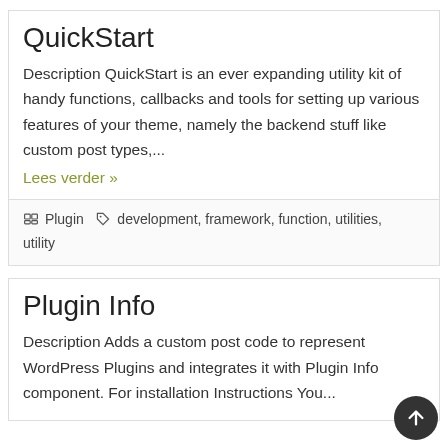QuickStart
Description QuickStart is an ever expanding utility kit of handy functions, callbacks and tools for setting up various features of your theme, namely the backend stuff like custom post types,...
Lees verder »
Plugin   development, framework, function, utilities, utility
Plugin Info
Description Adds a custom post code to represent WordPress Plugins and integrates it with Plugin Info component. For installation Instructions You...